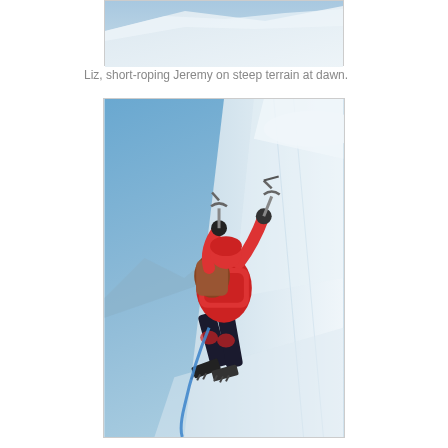[Figure (photo): Top portion of a mountaineering scene showing snowy terrain and blue sky, partially visible at top of page.]
Liz, short-roping Jeremy on steep terrain at dawn.
[Figure (photo): A mountaineer wearing a red jacket and black pants, using ice axes to climb a very steep snow/ice slope. The climber has crampons on and is attached to a rope. Blue sky and distant mountain peaks visible in the background.]